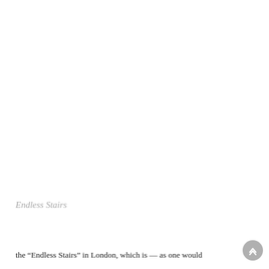Endless Stairs
the “Endless Stairs” in London, which is — as one would